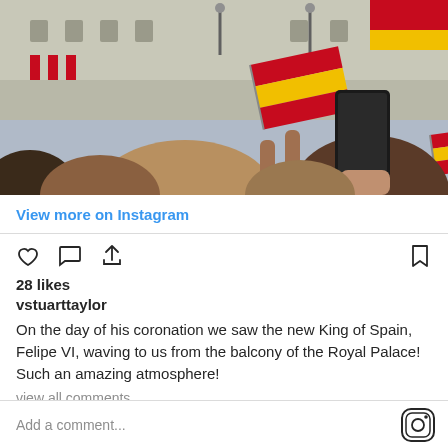[Figure (photo): Crowd of people at the Royal Palace in Madrid waving Spanish flags during King Felipe VI coronation, with a person holding a smartphone in foreground]
View more on Instagram
[Figure (infographic): Instagram action icons: heart (like), comment bubble, share arrow on left; bookmark on right]
28 likes
vstuarttaylor
On the day of his coronation we saw the new King of Spain, Felipe VI, waving to us from the balcony of the Royal Palace! Such an amazing atmosphere!
view all comments
Add a comment...